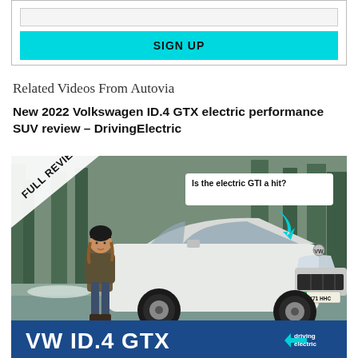SIGN UP
Related Videos From Autovia
New 2022 Volkswagen ID.4 GTX electric performance SUV review – DrivingElectric
[Figure (photo): Video thumbnail showing a woman standing next to a white Volkswagen ID.4 GTX electric SUV in a snowy forest setting. Overlaid text reads 'FULL REVIEW' on a diagonal banner top-left, 'Is the electric GTI a hit?' in a white box top-right with a teal arrow, and 'VW ID.4 GTX' in large white text on a blue bar at the bottom, with the DrivingElectric logo bottom-right.]